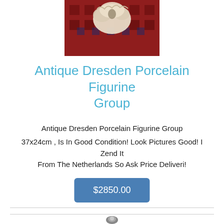[Figure (photo): Photo of an antique Dresden porcelain figurine group sitting on a red patterned rug/carpet]
Antique Dresden Porcelain Figurine Group
Antique Dresden Porcelain Figurine Group
37x24cm , Is In Good Condition! Look Pictures Good! I Zend It From The Netherlands So Ask Price Deliveri!
$2850.00